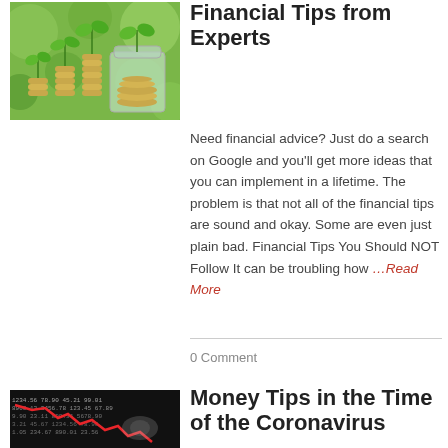[Figure (photo): Stacked coins with green plants growing from them, in glass jars, outdoors with green bokeh background.]
Financial Tips from Experts
Need financial advice? Just do a search on Google and you'll get more ideas that you can implement in a lifetime. The problem is that not all of the financial tips are sound and okay. Some are even just plain bad. Financial Tips You Should NOT Follow It can be troubling how …Read More
0 Comment
[Figure (photo): Dark stock market chart board with red declining arrow graph and a hand, representing financial loss during coronavirus.]
Money Tips in the Time of the Coronavirus